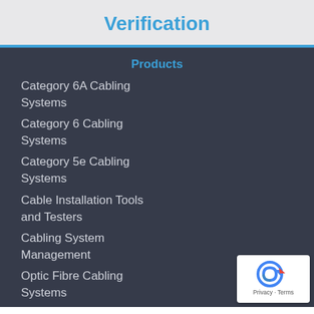Verification
Products
Category 6A Cabling Systems
Category 6 Cabling Systems
Category 5e Cabling Systems
Cable Installation Tools and Testers
Cabling System Management
Optic Fibre Cabling Systems
[Figure (logo): reCAPTCHA badge with Privacy and Terms text]